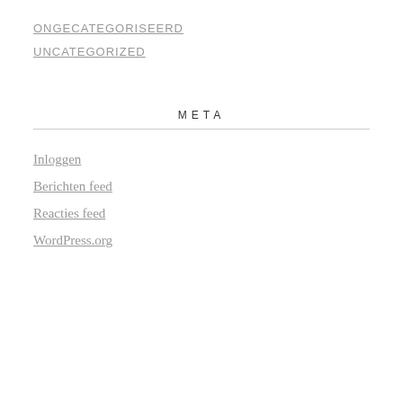ONGECATEGORISEERD
UNCATEGORIZED
META
Inloggen
Berichten feed
Reacties feed
WordPress.org